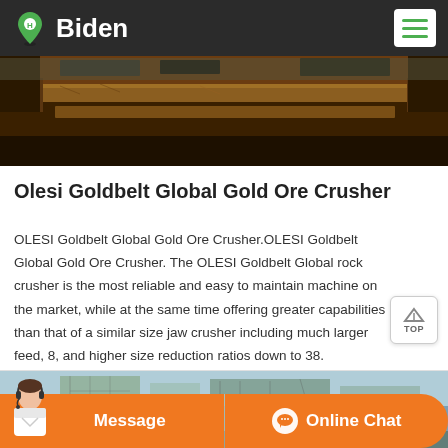Biden
[Figure (photo): Close-up photo of industrial machinery, showing rusted metal beams and mechanical equipment parts, dark industrial setting]
Olesi Goldbelt Global Gold Ore Crusher
OLESI Goldbelt Global Gold Ore Crusher.OLESI Goldbelt Global Gold Ore Crusher. The OLESI Goldbelt Global rock crusher is the most reliable and easy to maintain machine on the market, while at the same time offering greater capabilities than that of a similar size jaw crusher including much larger feed, 8, and higher size reduction ratios down to 38.
[Figure (photo): Partial photo of a mining or construction site with scaffolding and industrial structures, woman with headset visible at bottom left]
Message   Online Chat